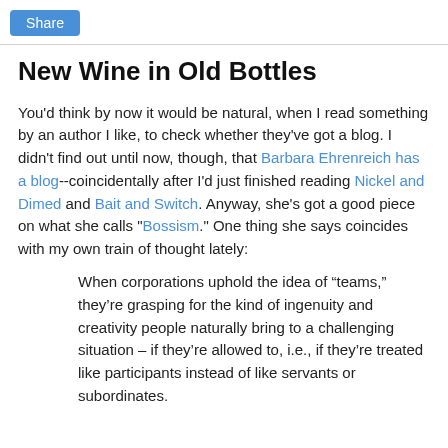Share
New Wine in Old Bottles
You'd think by now it would be natural, when I read something by an author I like, to check whether they've got a blog. I didn't find out until now, though, that Barbara Ehrenreich has a blog--coincidentally after I'd just finished reading Nickel and Dimed and Bait and Switch. Anyway, she's got a good piece on what she calls "Bossism." One thing she says coincides with my own train of thought lately:
When corporations uphold the idea of “teams,” they’re grasping for the kind of ingenuity and creativity people naturally bring to a challenging situation – if they’re allowed to, i.e., if they’re treated like participants instead of like servants or subordinates.